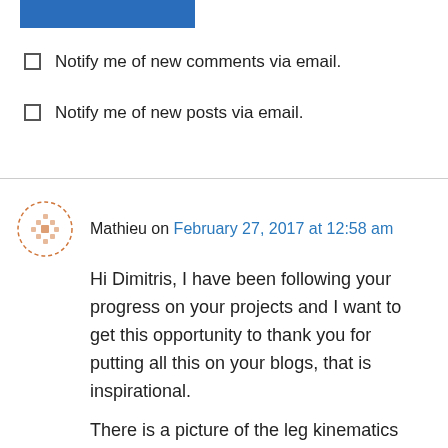[Figure (other): Blue button at top of page]
Notify me of new comments via email.
Notify me of new posts via email.
Mathieu on February 27, 2017 at 12:58 am
Hi Dimitris, I have been following your progress on your projects and I want to get this opportunity to thank you for putting all this on your blogs, that is inspirational. There is a picture of the leg kinematics calculation. Which software is this? and where did you get the model for the AX dynamixels?
I am myself working with the bioloid kit and building a circuit board to grab the FSR sensors